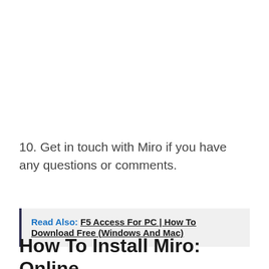10. Get in touch with Miro if you have any questions or comments.
Read Also: F5 Access For PC | How To Download Free (Windows And Mac)
How To Install Miro: Online